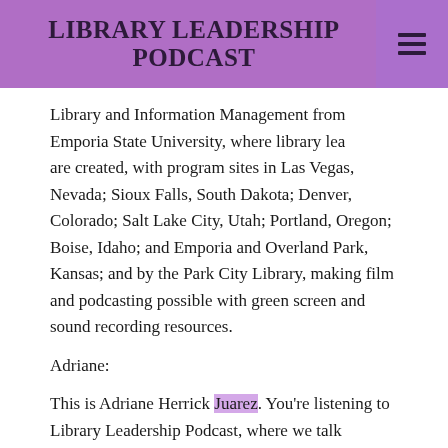LIBRARY LEADERSHIP PODCAST
Library and Information Management from Emporia State University, where library leaders are created, with program sites in Las Vegas, Nevada; Sioux Falls, South Dakota; Denver, Colorado; Salt Lake City, Utah; Portland, Oregon; Boise, Idaho; and Emporia and Overland Park, Kansas; and by the Park City Library, making film and podcasting possible with green screen and sound recording resources.
Adriane:
This is Adriane Herrick Juarez. You're listening to Library Leadership Podcast, where we talk